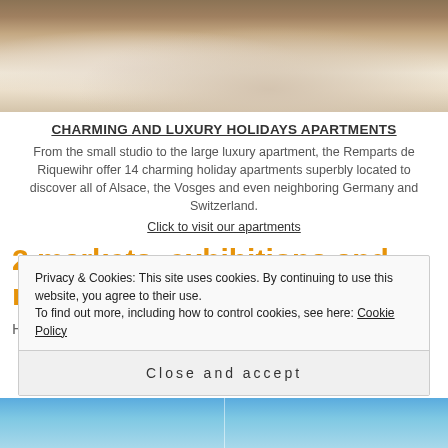[Figure (photo): Hotel room with a bed covered in white and orange/golden bedding, warm lighting]
CHARMING AND LUXURY HOLIDAYS APARTMENTS
From the small studio to the large luxury apartment, the Remparts de Riquewihr offer 14 charming holiday apartments superbly located to discover all of Alsace, the Vosges and even neighboring Germany and Switzerland.
Click to visit our apartments
2 markets, exhibitions and music ...
Here is a short summary of the highlights of these two
Privacy & Cookies: This site uses cookies. By continuing to use this website, you agree to their use.
To find out more, including how to control cookies, see here: Cookie Policy
Close and accept
[Figure (photo): Blue toned photo at the bottom of the page, split into two panels]